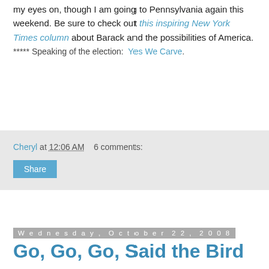my eyes on, though I am going to Pennsylvania again this weekend. Be sure to check out this inspiring New York Times column about Barack and the possibilities of America.
***** Speaking of the election:  Yes We Carve.
Cheryl at 12:06 AM    6 comments:
Share
Wednesday, October 22, 2008
Go, Go, Go, Said the Bird